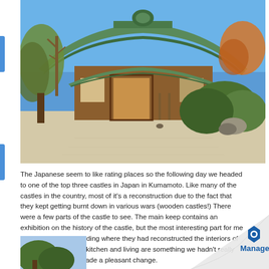[Figure (photo): Japanese castle building with green curved roof, wooden structure, surrounded by manicured trees and gravel courtyard, blue sky background]
The Japanese seem to like rating places so the following day we headed to one of the top three castles in Japan in Kumamoto. Like many of the castles in the country, most of it’s a reconstruction due to the fact that they kept getting burnt down in various wars (wooden castles!) There were a few parts of the castle to see. The main keep contains an exhibition on the history of the castle, but the most interesting part for me was the adjoining building where they had reconstructed the interiors of some rooms such as kitchen and living are something we hadn’t really seen elsewhere so made a pleasant change.
[Figure (photo): Partial photo of trees against sky at bottom left of page]
[Figure (logo): Manage logo - blue hexagon icon with text Manage]